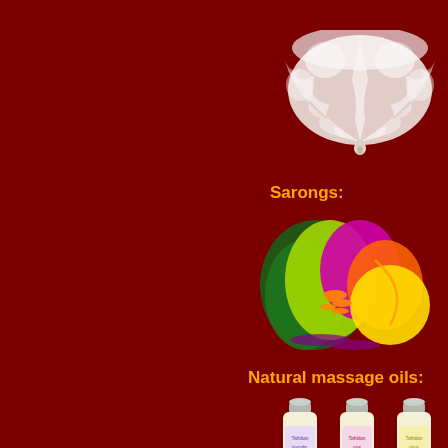[Figure (photo): White feather fan on dark red background]
Sarongs:
[Figure (photo): Colorful tropical sarongs in green, purple, orange, and yellow on dark red background]
Natural massage oils:
[Figure (photo): Three small bottles of natural massage oils with silver caps on dark red background]